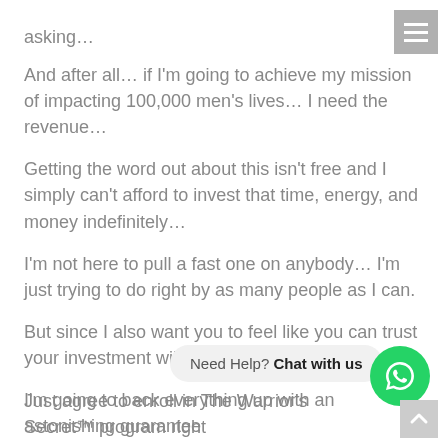asking…
And after all… if I'm going to achieve my mission of impacting 100,000 men's lives… I need the revenue…
Getting the word out about this isn't free and I simply can't afford to invest that time, energy, and money indefinitely…
I'm not here to pull a fast one on anybody… I'm just trying to do right by as many people as I can.
But since I also want you to feel like you can trust your investment will be a good one…
I'm going to back everything up with an astonishing guarantee
Here's how that works…
Just agree to enroll in The Warrior's Secret™ program right